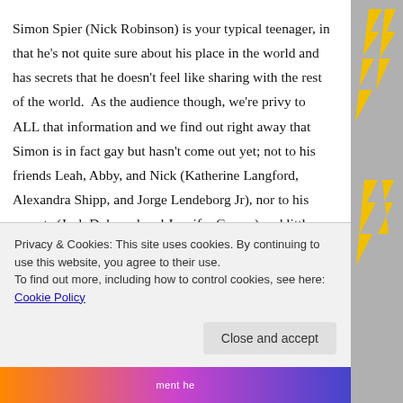Simon Spier (Nick Robinson) is your typical teenager, in that he's not quite sure about his place in the world and has secrets that he doesn't feel like sharing with the rest of the world. As the audience though, we're privy to ALL that information and we find out right away that Simon is in fact gay but hasn't come out yet; not to his friends Leah, Abby, and Nick (Katherine Langford, Alexandra Shipp, and Jorge Lendeborg Jr), nor to his parents (Josh Duhmael and Jennifer Garner) and little sister (Talitha Bateman). He has his reasons for doing so and it's not like there's a LAW that says you have to
Privacy & Cookies: This site uses cookies. By continuing to use this website, you agree to their use.
To find out more, including how to control cookies, see here: Cookie Policy
Close and accept